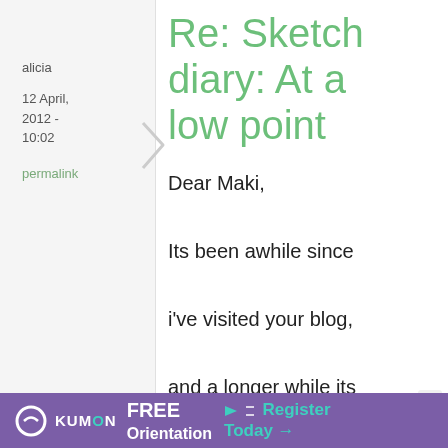alicia
12 April, 2012 - 10:02
permalink
Re: Sketch diary: At a low point
Dear Maki,

Its been awhile since i've visited your blog, and a longer while its been since i've commented.
[Figure (infographic): Kumon advertisement banner: purple background with Kumon logo, FREE Orientation text, and Register Today with arrow]